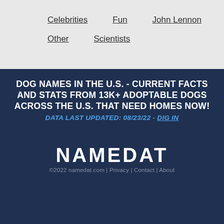Celebrities
Fun
John Lennon
Other
Scientists
DOG NAMES IN THE U.S. - CURRENT FACTS AND STATS FROM 13K+ ADOPTABLE DOGS ACROSS THE U.S. THAT NEED HOMES NOW! DATA LAST UPDATED: 08/23/22 - DIG IN
[Figure (logo): NAMEDAT logo in white text on dark blue background]
©2022 namedat.com | Privacy | Contact | About